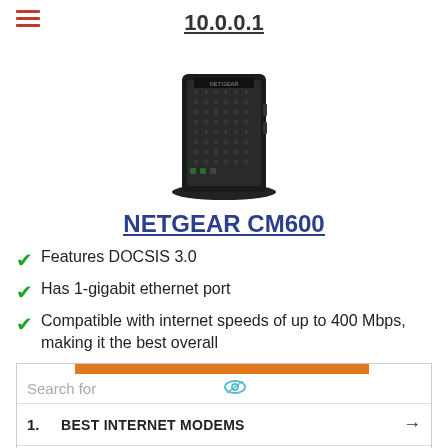10.0.0.1
[Figure (photo): NETGEAR CM600 cable modem device, black, upright on stand]
NETGEAR CM600
Features DOCSIS 3.0
Has 1-gigabit ethernet port
Compatible with internet speeds of up to 400 Mbps, making it the best overall
Search for
1. BEST INTERNET MODEMS
2. CABLE MODEM PROVIDERS